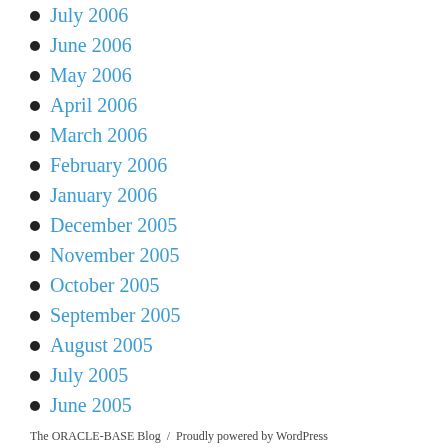July 2006
June 2006
May 2006
April 2006
March 2006
February 2006
January 2006
December 2005
November 2005
October 2005
September 2005
August 2005
July 2005
June 2005
The ORACLE-BASE Blog  /  Proudly powered by WordPress